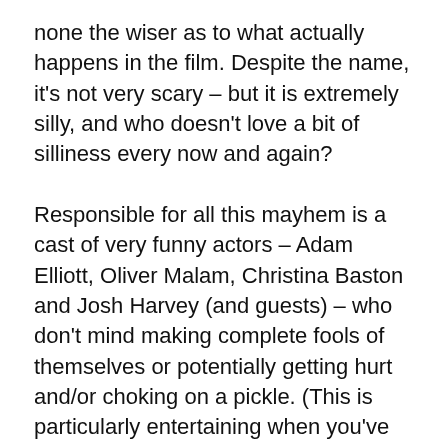none the wiser as to what actually happens in the film. Despite the name, it's not very scary – but it is extremely silly, and who doesn't love a bit of silliness every now and again?
Responsible for all this mayhem is a cast of very funny actors – Adam Elliott, Oliver Malam, Christina Baston and Josh Harvey (and guests) – who don't mind making complete fools of themselves or potentially getting hurt and/or choking on a pickle. (This is particularly entertaining when you've seen two of them before in very serious plays...) Anyone who enjoys the antics of Mischief Theatre will recognise the same talent here for making chaos look effortless. The Lampoons operate on a significantly smaller budget, but they don't let that stop them; quite the opposite – they embrace their limitations and turn them to their advantage, with hilariously doday